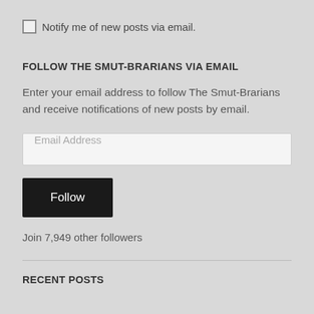Notify me of new posts via email.
FOLLOW THE SMUT-BRARIANS VIA EMAIL
Enter your email address to follow The Smut-Brarians and receive notifications of new posts by email.
Email Address
Follow
Join 7,949 other followers
RECENT POSTS